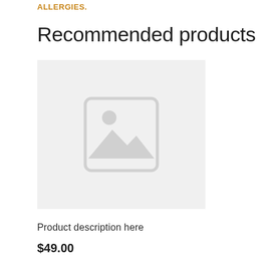ALLERGIES.
Recommended products
[Figure (illustration): Placeholder product image with a generic image icon (mountain/landscape silhouette with circle) on a light gray background]
Product description here
$49.00